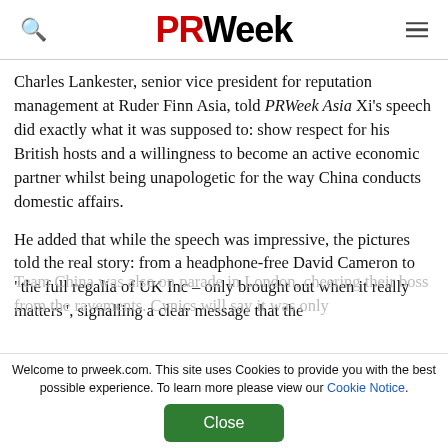PRWeek
Charles Lankester, senior vice president for reputation management at Ruder Finn Asia, told PRWeek Asia Xi’s speech did exactly what it was supposed to: show respect for his British hosts and a willingness to become an active economic partner whilst being unapologetic for the way China conducts domestic affairs.
He added that while the speech was impressive, the pictures told the real story: from a headphone-free David Cameron to “the full regalia of UK Inc – only brought out when it really matters”, signalling a clear message that the
Team China was also on parade in London, cheering their boss from the ravements. Cynics will say it was only
Welcome to prweek.com. This site uses Cookies to provide you with the best possible experience. To learn more please view our Cookie Notice.